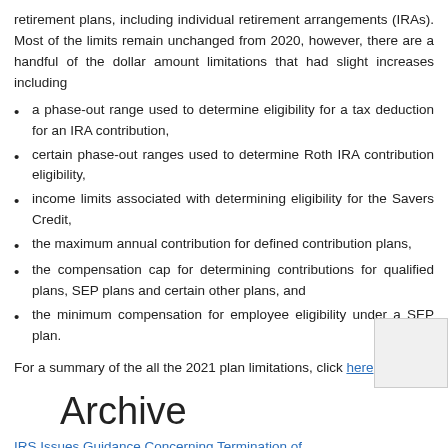retirement plans, including individual retirement arrangements (IRAs). Most of the limits remain unchanged from 2020, however, there are a handful of the dollar amount limitations that had slight increases including
a phase-out range used to determine eligibility for a tax deduction for an IRA contribution,
certain phase-out ranges used to determine Roth IRA contribution eligibility,
income limits associated with determining eligibility for the Savers Credit,
the maximum annual contribution for defined contribution plans,
the compensation cap for determining contributions for qualified plans, SEP plans and certain other plans, and
the minimum compensation for employee eligibility under a SEP plan.
For a summary of the all the 2021 plan limitations, click here.
Archive
IRS Issues Guidance Concerning Termination of